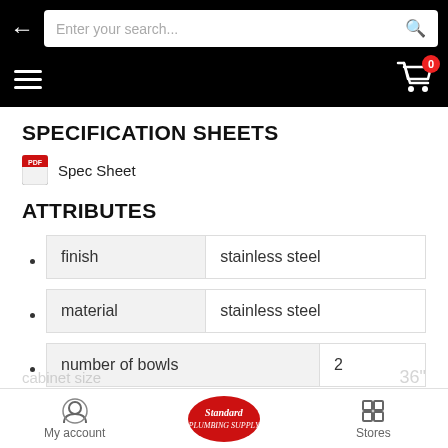Enter your search...
SPECIFICATION SHEETS
Spec Sheet
ATTRIBUTES
| Attribute | Value |
| --- | --- |
| finish | stainless steel |
| material | stainless steel |
| number of bowls | 2 |
| cabinet size | 36" |
My account   Standard Plumbing Supply   Stores